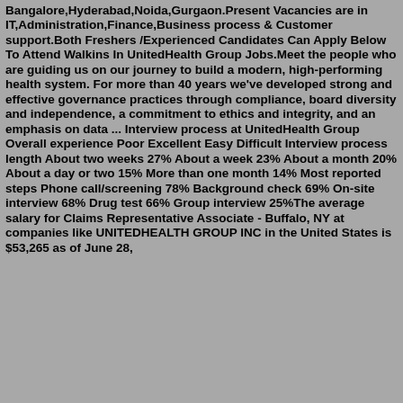Bangalore,Hyderabad,Noida,Gurgaon.Present Vacancies are in IT,Administration,Finance,Business process & Customer support.Both Freshers /Experienced Candidates Can Apply Below To Attend Walkins In UnitedHealth Group Jobs.Meet the people who are guiding us on our journey to build a modern, high-performing health system. For more than 40 years we've developed strong and effective governance practices through compliance, board diversity and independence, a commitment to ethics and integrity, and an emphasis on data ... Interview process at UnitedHealth Group Overall experience Poor Excellent Easy Difficult Interview process length About two weeks 27% About a week 23% About a month 20% About a day or two 15% More than one month 14% Most reported steps Phone call/screening 78% Background check 69% On-site interview 68% Drug test 66% Group interview 25%The average salary for Claims Representative Associate - Buffalo, NY at companies like UNITEDHEALTH GROUP INC in the United States is $53,265 as of June 28,